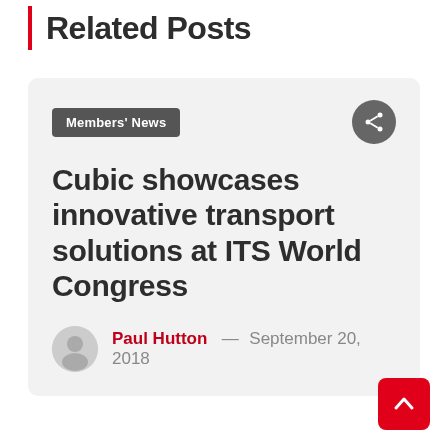Related Posts
Members' News
Cubic showcases innovative transport solutions at ITS World Congress
Paul Hutton — September 20, 2018